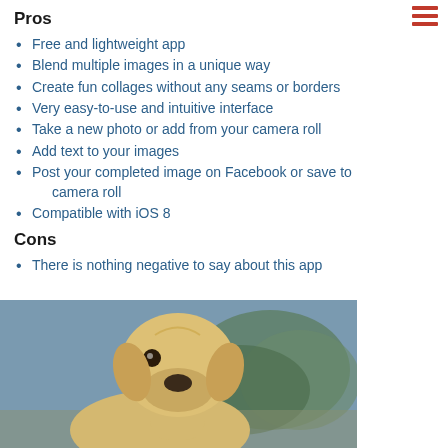Pros
Free and lightweight app
Blend multiple images in a unique way
Create fun collages without any seams or borders
Very easy-to-use and intuitive interface
Take a new photo or add from your camera roll
Add text to your images
Post your completed image on Facebook or save to camera roll
Compatible with iOS 8
Cons
There is nothing negative to say about this app
[Figure (photo): A yellow Labrador dog photographed against a blurred outdoor background with vegetation]